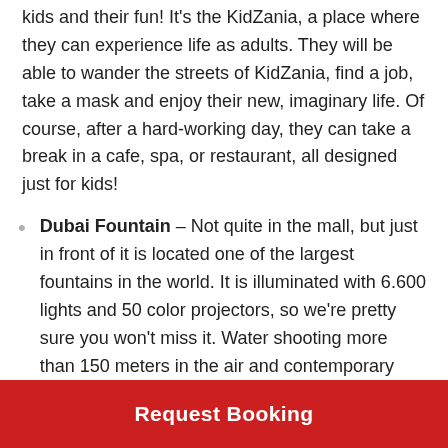kids and their fun! It's the KidZania, a place where they can experience life as adults. They will be able to wander the streets of KidZania, find a job, take a mask and enjoy their new, imaginary life. Of course, after a hard-working day, they can take a break in a cafe, spa, or restaurant, all designed just for kids!
Dubai Fountain - Not quite in the mall, but just in front of it is located one of the largest fountains in the world. It is illuminated with 6.600 lights and 50 color projectors, so we're pretty sure you won't miss it. Water shooting more than 150 meters in the air and contemporary Arabic music make this fountain one of the main attractions in Dubai.
Request Booking